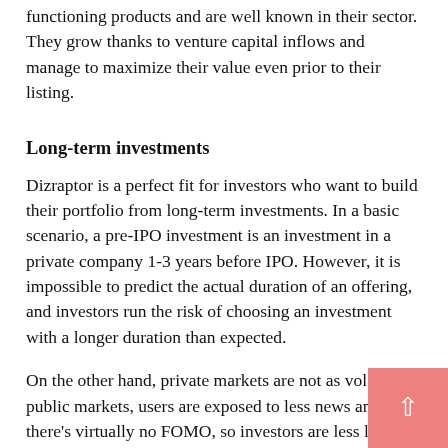valuation above $1 billion — globally. Most of them run their functioning products and are well known in their sector. They grow thanks to venture capital inflows and manage to maximize their value even prior to their listing.
Long-term investments
Dizraptor is a perfect fit for investors who want to build their portfolio from long-term investments. In a basic scenario, a pre-IPO investment is an investment in a private company 1-3 years before IPO. However, it is impossible to predict the actual duration of an offering, and investors run the risk of choosing an investment with a longer duration than expected.
On the other hand, private markets are not as volatile as public markets, users are exposed to less news and there's virtually no FOMO, so investors are less likely to lose their money on emotion.